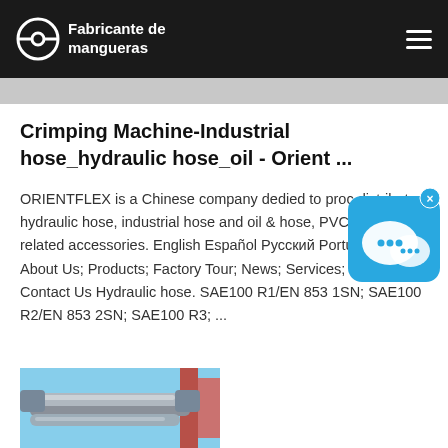Fabricante de mangueras
Crimping Machine-Industrial hose_hydraulic hose_oil - Orient ...
ORIENTFLEX is a Chinese company dedied to produce and distribute hydraulic hose, industrial hose and oil & gas hose, PVC hose and related accessories. English Español Русский Portugal . Home; About Us; Products; Factory Tour; News; Services; Video; Contact Us Hydraulic hose. SAE100 R1/EN 853 1SN; SAE100 R2/EN 853 2SN; SAE100 R3; ...
[Figure (photo): Photo of industrial hose/crimping machine equipment, metallic tubes and pipes visible with blue sky background and red structure.]